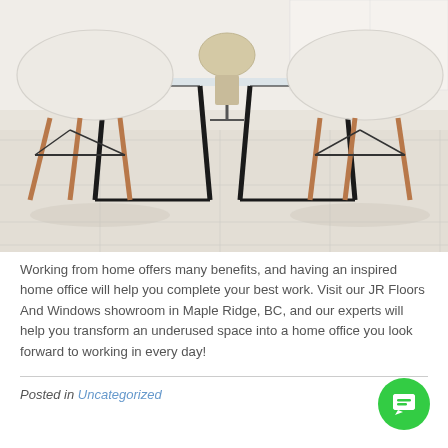[Figure (photo): Interior photo showing a dining/home office area with a glass table, modern white shell chairs with wooden legs, and large light cream/beige ceramic floor tiles. Background shows white cabinetry and an office chair.]
Working from home offers many benefits, and having an inspired home office will help you complete your best work. Visit our JR Floors And Windows showroom in Maple Ridge, BC, and our experts will help you transform an underused space into a home office you look forward to working in every day!
Posted in Uncategorized